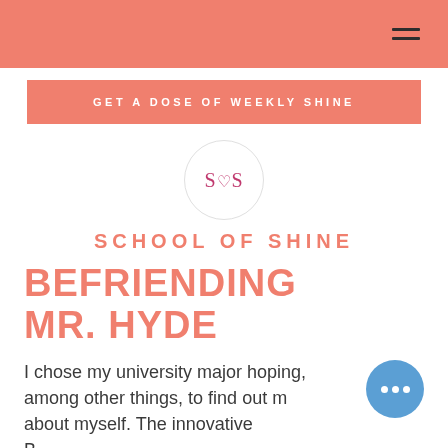Navigation bar with hamburger menu
GET A DOSE OF WEEKLY SHINE
[Figure (logo): School of Shine circular logo with S heart S text in pink/magenta on white background with light grey border]
SCHOOL OF SHINE
BEFRIENDING MR. HYDE
I chose my university major hoping, among other things, to find out more about myself. The innovative Business or Culinary school...